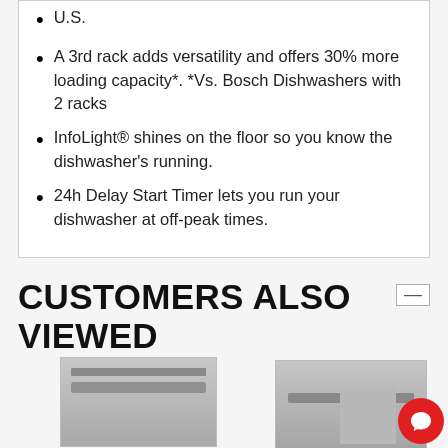U.S.
A 3rd rack adds versatility and offers 30% more loading capacity*. *Vs. Bosch Dishwashers with 2 racks
InfoLight® shines on the floor so you know the dishwasher's running.
24h Delay Start Timer lets you run your dishwasher at off-peak times.
CUSTOMERS ALSO VIEWED
[Figure (photo): Bosch dishwasher product image, stainless steel, front view with handle and control strip]
[Figure (photo): Bosch dishwasher product image, stainless steel, front view with handle]